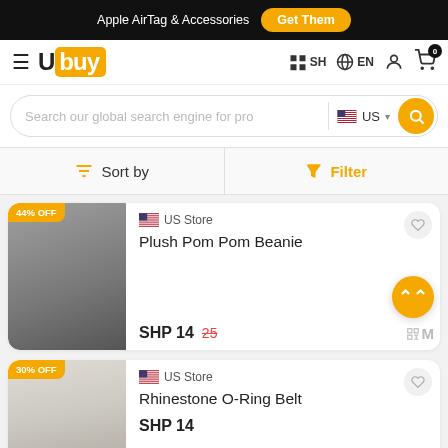Apple AirTag & Accessories  Get Them
[Figure (logo): Ubuy logo with orange background on 'buy' portion]
SH  EN  (user icon)  (cart icon) 0
Search our global search engine for pro  US
Sort by  Filter
44% OFF  US Store  Plush Pom Pom Beanie  SHP 14  25
30% OFF  US Store  Rhinestone O-Ring Belt  SHP 14